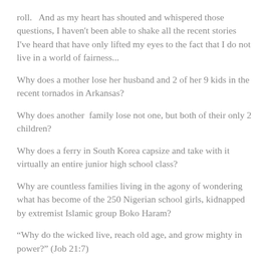roll.   And as my heart has shouted and whispered those questions, I haven't been able to shake all the recent stories I've heard that have only lifted my eyes to the fact that I do not live in a world of fairness...
Why does a mother lose her husband and 2 of her 9 kids in the recent tornados in Arkansas?
Why does another  family lose not one, but both of their only 2 children?
Why does a ferry in South Korea capsize and take with it virtually an entire junior high school class?
Why are countless families living in the agony of wondering what has become of the 250 Nigerian school girls, kidnapped by extremist Islamic group Boko Haram?
“Why do the wicked live, reach old age, and grow mighty in power?” (Job 21:7)